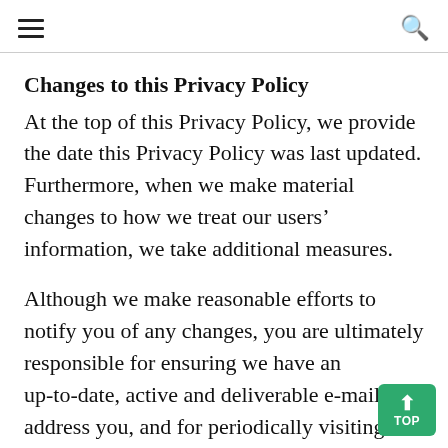≡  🔍
Changes to this Privacy Policy
At the top of this Privacy Policy, we provide the date this Privacy Policy was last updated. Furthermore, when we make material changes to how we treat our users' information, we take additional measures.
Although we make reasonable efforts to notify you of any changes, you are ultimately responsible for ensuring we have an up-to-date, active and deliverable e-mail address you, and for periodically visiting our Website